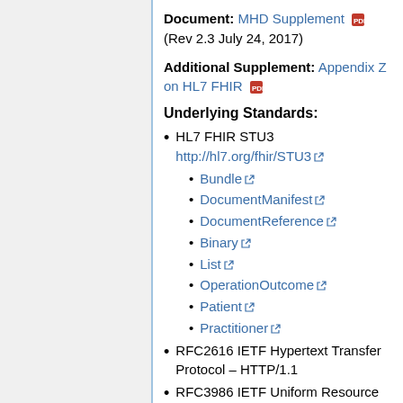Document: MHD Supplement (Rev 2.3 July 24, 2017)
Additional Supplement: Appendix Z on HL7 FHIR
Underlying Standards:
HL7 FHIR STU3 http://hl7.org/fhir/STU3
Bundle
DocumentManifest
DocumentReference
Binary
List
OperationOutcome
Patient
Practitioner
RFC2616 IETF Hypertext Transfer Protocol – HTTP/1.1
RFC3986 IETF Uniform Resource